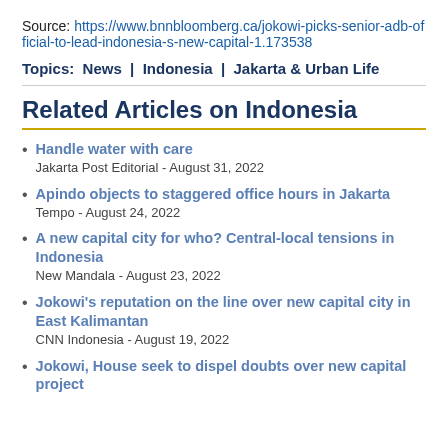Source: https://www.bnnbloomberg.ca/jokowi-picks-senior-adb-official-to-lead-indonesia-s-new-capital-1.173538
Topics:  News  |  Indonesia  |  Jakarta & Urban Life
Related Articles on Indonesia
Handle water with care
Jakarta Post Editorial - August 31, 2022
Apindo objects to staggered office hours in Jakarta
Tempo - August 24, 2022
A new capital city for who? Central-local tensions in Indonesia
New Mandala - August 23, 2022
Jokowi's reputation on the line over new capital city in East Kalimantan
CNN Indonesia - August 19, 2022
Jokowi, House seek to dispel doubts over new capital project